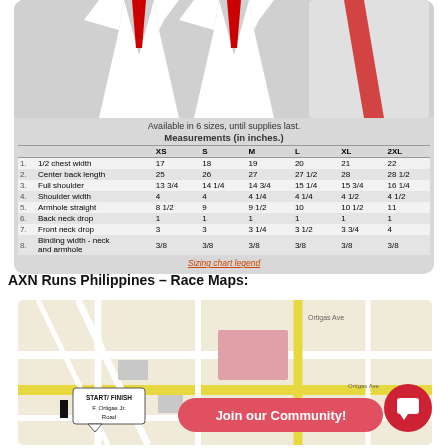[Figure (photo): T-shirt product images shown in a rounded card with gray background]
Available in 6 sizes, until supplies last.
Measurements (in inches.)
|  |  | XS | S | M | L | XL | 2XL |
| --- | --- | --- | --- | --- | --- | --- | --- |
| 1. | 1/2 chest width | 17 | 18 | 19 | 20 | 21 | 22 |
| 2. | Center back length | 25 | 26 | 27 | 27 1/2 | 28 | 28 1/2 |
| 3. | Full shoulder | 13 3/4 | 14 1/4 | 14 3/4 | 15 1/4 | 15 3/4 | 16 1/4 |
| 4. | Shoulder width | 4 | 4 | 4 1/4 | 4 1/4 | 4 1/2 | 4 1/2 |
| 5. | Armhole straight | 8 1/2 | 9 | 9 1/2 | 10 | 10 1/2 | 11 |
| 6. | Back neck drop | 1 | 1 | 1 | 1 | 1 | 1 |
| 7. | Front neck drop | 3 | 3 | 3 1/4 | 3 1/2 | 3 3/4 | 4 |
| 8. | Binding width - neck and armhole | 3/8 | 3/8 | 3/8 | 3/8 | 3/8 | 3/8 |
Sizing chart legend
AXN Runs Philippines – Race Maps:
[Figure (map): Google Maps view of race route with START/FINISH at F. Ortigas Jr. Road, with 'Join our Community!' overlay button and chat icon]